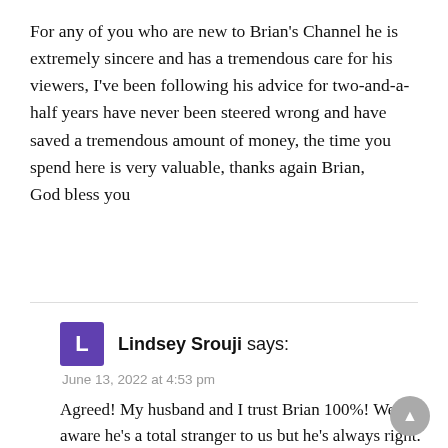For any of you who are new to Brian's Channel he is extremely sincere and has a tremendous care for his viewers, I've been following his advice for two-and-a-half years have never been steered wrong and have saved a tremendous amount of money, the time you spend here is very valuable, thanks again Brian, God bless you
Lindsey Srouji says:
June 13, 2022 at 4:53 pm
Agreed! My husband and I trust Brian 100%! We are aware he's a total stranger to us but he's always right. We get a discount on stocks from my husbands job and we are by no means professions traders 😄 so this was the warning we needed to make the right